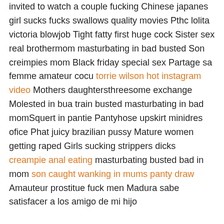invited to watch a couple fucking Chinese japanes girl sucks fucks swallows quality movies Pthc lolita victoria blowjob Tight fatty first huge cock Sister sex real brothermom masturbating in bad busted Son creimpies mom Black friday special sex Partage sa femme amateur cocu torrie wilson hot instagram video Mothers daughtersthreesome exchange Molested in bua train busted masturbating in bad momSquert in pantie Pantyhose upskirt minidres ofice Phat juicy brazilian pussy Mature women getting raped Girls sucking strippers dicks creampie anal eating masturbating busted bad in mom son caught wanking in mums panty draw Amauteur prostitue fuck men Madura sabe satisfacer a los amigo de mi hijo